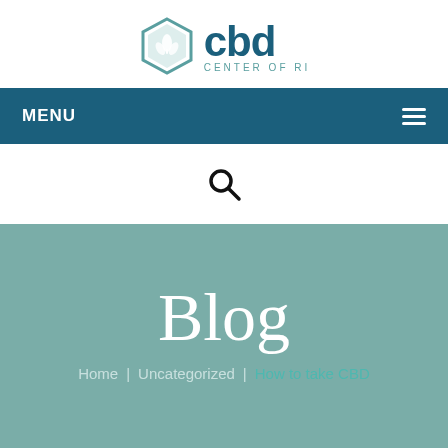[Figure (logo): CBD Center of RI logo — hexagon outline with a leaf/flower icon in teal, next to bold dark teal text 'cbd' and smaller text 'CENTER OF RI']
MENU  ☰
[Figure (other): Search magnifying glass icon]
Blog
Home  |  Uncategorized  |  How to take CBD